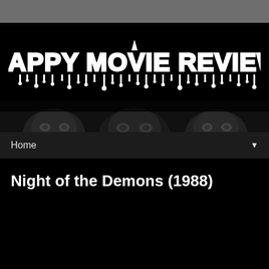[Figure (logo): Crappy Movie Reviews website logo — white horror-style dripping text on black background reading CRAPPY MOVIE REVIEWS]
[Figure (photo): Black and white horror movie banner image showing demonic/scary faces in a dark scene]
Home ▼
Night of the Demons (1988)